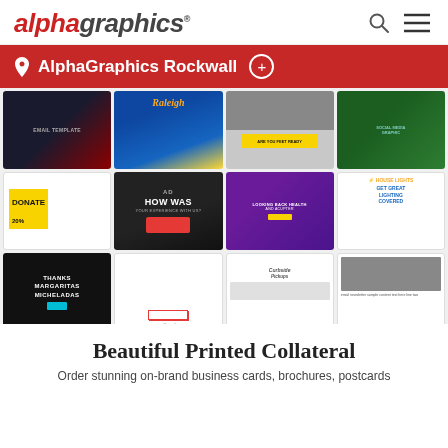alphagraphics®
AlphaGraphics Rockwall
[Figure (screenshot): Collage of marketing and print design samples including email campaigns, social media graphics, brochures, and promotional materials for AlphaGraphics Rockwall]
Beautiful Printed Collateral
Order stunning on-brand business cards, brochures, postcards